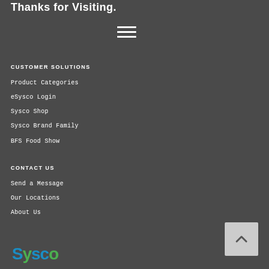Thanks for Visiting.
[Figure (other): Hamburger menu icon with three horizontal lines]
CUSTOMER SOLUTIONS
Product Categories
eSysco Login
Sysco Shop
Sysco Brand Family
BFS Food Show
CONTACT US
Send a Message
Our Locations
About Us
[Figure (logo): Sysco logo in blue and green]
[Figure (other): Back to top button with upward chevron arrow]